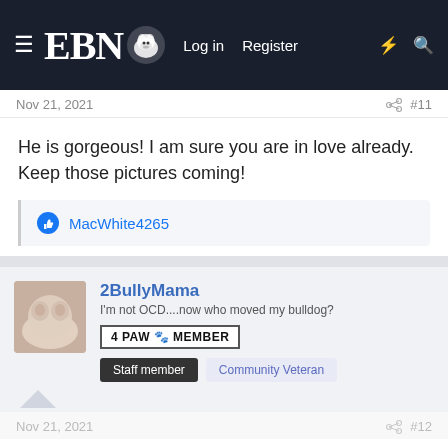EBN — Log in | Register
Nov 21, 2021  #11
He is gorgeous! I am sure you are in love already. Keep those pictures coming!
MacWhite4265
2BullyMama
I'm not OCD....now who moved my bulldog?
4 PAW 🐾 MEMBER
Staff member   Community Veteran
Nov 21, 2021  #12